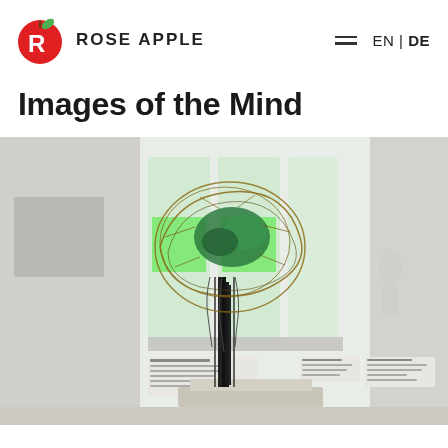ROSE APPLE
Images of the Mind
[Figure (photo): Museum exhibition photo showing a wire and mixed-media sculptural artwork resembling a stylized brain or tree on a pedestal, displayed in a glass case in a gallery with green-tinted windows in the background. Exhibition labels visible on the wall.]